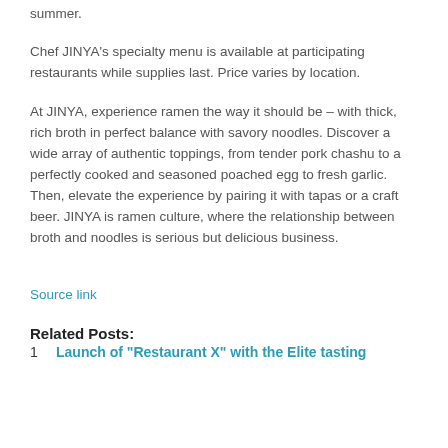summer.
Chef JINYA’s specialty menu is available at participating restaurants while supplies last. Price varies by location.
At JINYA, experience ramen the way it should be – with thick, rich broth in perfect balance with savory noodles. Discover a wide array of authentic toppings, from tender pork chashu to a perfectly cooked and seasoned poached egg to fresh garlic. Then, elevate the experience by pairing it with tapas or a craft beer. JINYA is ramen culture, where the relationship between broth and noodles is serious but delicious business.
Source link
Related Posts:
Launch of “Restaurant X” with the Elite tasting